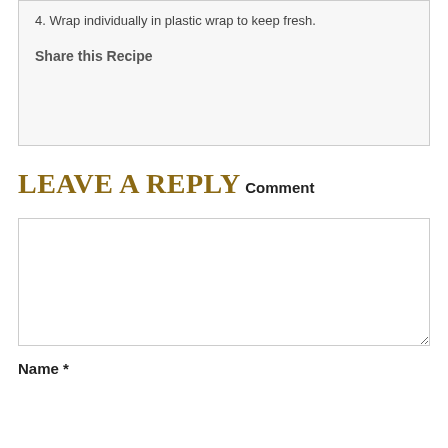4. Wrap individually in plastic wrap to keep fresh.
Share this Recipe
LEAVE A REPLY
Comment
Name *